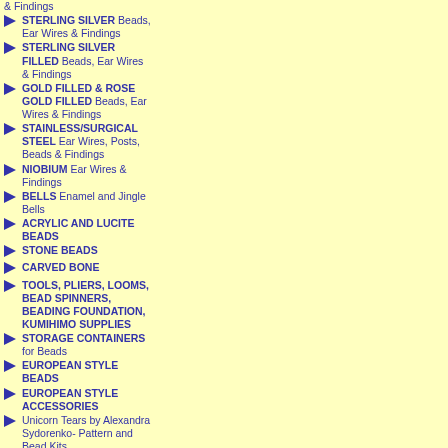& Findings
STERLING SILVER Beads, Ear Wires & Findings
STERLING SILVER FILLED Beads, Ear Wires & Findings
GOLD FILLED & ROSE GOLD FILLED Beads, Ear Wires & Findings
STAINLESS/SURGICAL STEEL Ear Wires, Posts, Beads & Findings
NIOBIUM Ear Wires & Findings
BELLS Enamel and Jingle Bells
ACRYLIC AND LUCITE BEADS
STONE BEADS
CARVED BONE
TOOLS, PLIERS, LOOMS, BEAD SPINNERS, BEADING FOUNDATION, KUMIHIMO SUPPLIES
STORAGE CONTAINERS for Beads
EUROPEAN STYLE BEADS
EUROPEAN STYLE ACCESSORIES
Unicorn Tears by Alexandra Sydorenko- Pattern and Bead Kits
PATTERNS & BEADING KITS